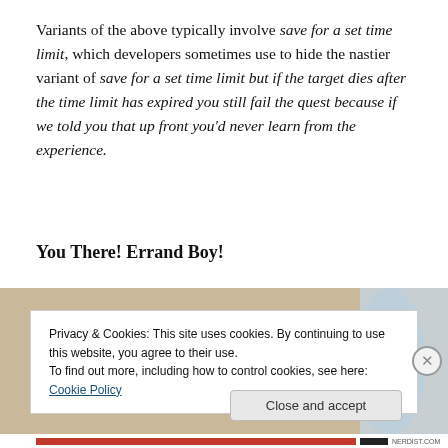Variants of the above typically involve save for a set time limit, which developers sometimes use to hide the nastier variant of save for a set time limit but if the target dies after the time limit has expired you still fail the quest because if we told you that up front you'd never learn from the experience.
You There! Errand Boy!
[Figure (photo): Partial photo of hands, partially visible, cut off by cookie banner overlay]
Privacy & Cookies: This site uses cookies. By continuing to use this website, you agree to their use.
To find out more, including how to control cookies, see here: Cookie Policy